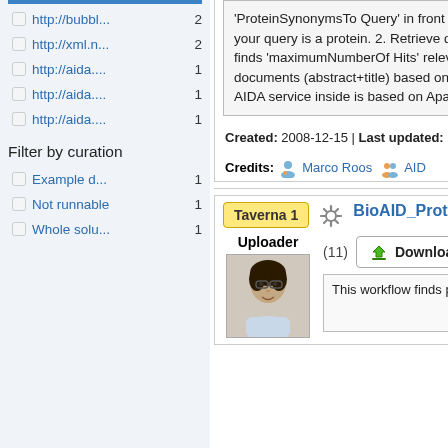http://bubbl... 2
http://xml.n... 2
http://aida.... 1
http://aida.... 1
http://aida.... 1
Filter by curation
Example d... 1
Not runnable 1
Whole solu... 1
'ProteinSynonymsTo Query' in front of the input if your query is a protein. 2. Retrieve documents: finds 'maximumNumberOf Hits' relevant documents (abstract+title) based on query (the AIDA service inside is based on Apa...
Created: 2008-12-15 | Last updated: 2011-08-11
Credits: Marco Roos AID
Taverna 1
BioAID_ProteinDiscover
Uploader
(11)
Download
This workflow finds proteins